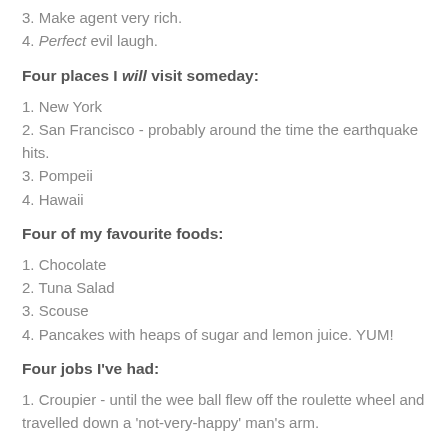3. Make agent very rich.
4. Perfect evil laugh.
Four places I will visit someday:
1. New York
2. San Francisco - probably around the time the earthquake hits.
3. Pompeii
4. Hawaii
Four of my favourite foods:
1. Chocolate
2. Tuna Salad
3. Scouse
4. Pancakes with heaps of sugar and lemon juice. YUM!
Four jobs I've had:
1. Croupier - until the wee ball flew off the roulette wheel and travelled down a 'not-very-happy' man's arm.